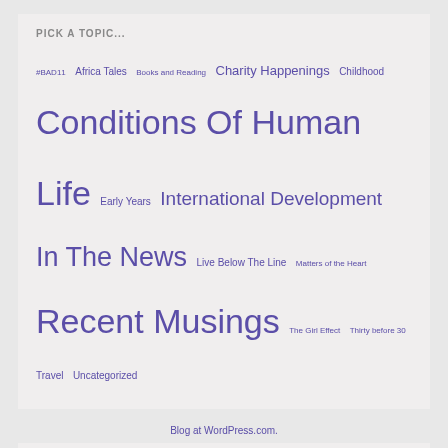PICK A TOPIC...
#BAD11 Africa Tales Books and Reading Charity Happenings Childhood Conditions Of Human Life Early Years International Development In The News Live Below The Line Matters of the Heart Recent Musings The Girl Effect Thirty before 30 Travel Uncategorized
FOLLOW ME ON TWITTER
My Tweets
[Figure (other): Follow agirlcalledlynsey WordPress follow button with count 139]
Blog at WordPress.com.